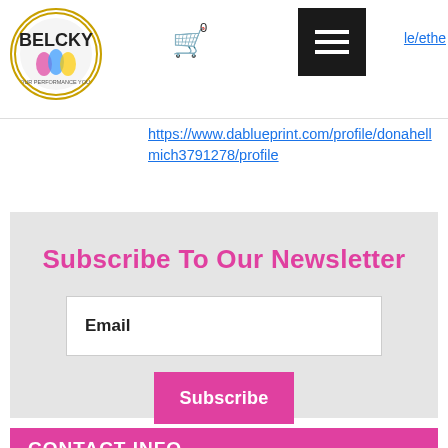[Figure (logo): Belcky store circular logo with gold border, colorful athletic figures and text]
0
[Figure (screenshot): Black hamburger menu button (three white lines on black background)]
le/ethe
https://www.dablueprint.com/profile/donahellmich3791278/profile
Subscribe To Our Newsletter
Email
Subscribe
CONTACT INFO
info@belckystore.net
14311 BISCAYNE BLVD SUITE 610433